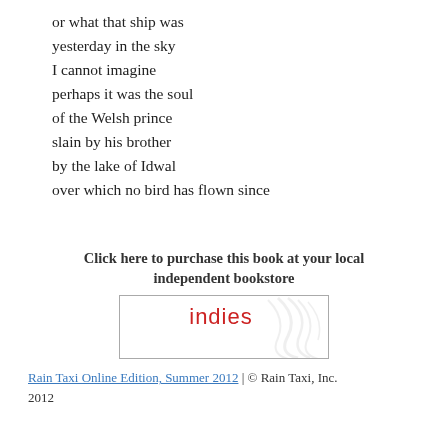or what that ship was
yesterday in the sky
I cannot imagine
perhaps it was the soul
of the Welsh prince
slain by his brother
by the lake of Idwal
over which no bird has flown since
Click here to purchase this book at your local independent bookstore
[Figure (logo): Indies bookstore logo — red 'indies' text with leaf/feather watermark graphic on white background with grey border]
Rain Taxi Online Edition, Summer 2012 | © Rain Taxi, Inc. 2012